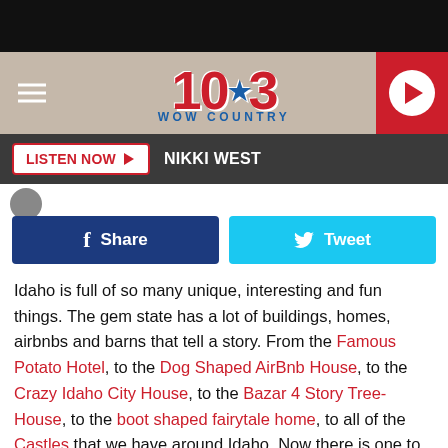[Figure (screenshot): 104.3 WOW Country radio station website header banner with red logo, hamburger menu, and play button]
LISTEN NOW  NIKKI WEST
[Figure (other): Facebook Share and Twitter Tweet social sharing buttons]
Idaho is full of so many unique, interesting and fun things. The gem state has a lot of buildings, homes, airbnbs and barns that tell a story. From the Famous Potato Hotel, to the Dog Shaped AirBnb House, to the Crazy Idaho City House, to the Bazar 4 Story Tree-House, to the boot shaped fairytale home, to all of the Castles that we have around Idaho. Now there is one to add to the list of strange that is sure to make even the grumpiest of people smile.